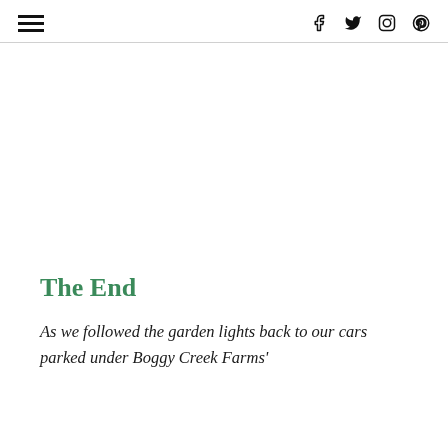≡  f  𝕏  ⊙  ℗
The End
As we followed the garden lights back to our cars parked under Boggy Creek Farms'